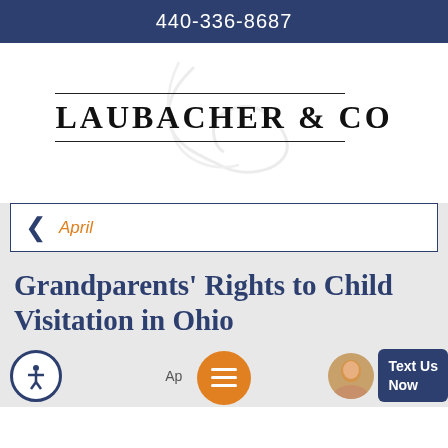440-336-8687
[Figure (logo): Laubacher & Co law firm logo with cursive L watermark and firm name in bold serif letters between two horizontal lines]
April
Grandparents' Rights to Child Visitation in Ohio
April 2015